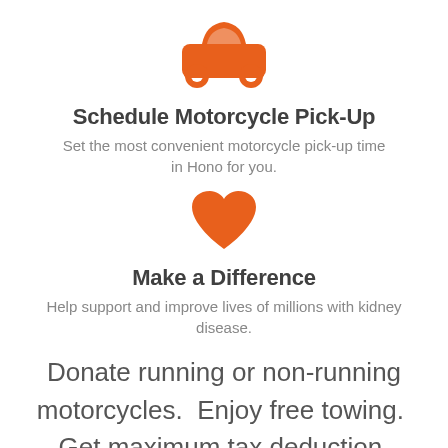[Figure (illustration): Orange car icon (top view silhouette)]
Schedule Motorcycle Pick-Up
Set the most convenient motorcycle pick-up time in Hono for you.
[Figure (illustration): Orange heart icon]
Make a Difference
Help support and improve lives of millions with kidney disease.
Donate running or non-running motorcycles.  Enjoy free towing.  Get maximum tax deduction.